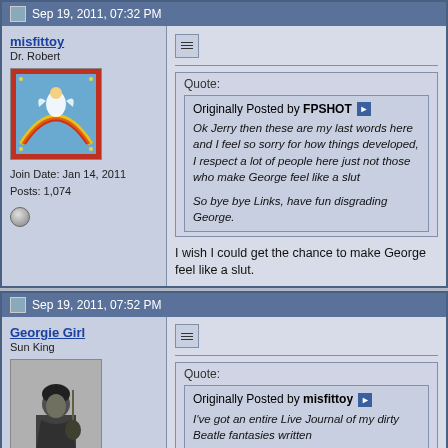Sep 19, 2011, 07:32 PM
misfittoy
Dr. Robert
Join Date: Jan 14, 2011
Posts: 1,074
Originally Posted by FPSHOT
Ok Jerry then these are my last words here and I feel so sorry for how things developed, I respect a lot of people here just not those who make George feel like a slut

So bye bye Links, have fun disgrading George.
I wish I could get the chance to make George feel like a slut.
Sep 19, 2011, 07:52 PM
Georgie Girl
Sun King
Originally Posted by misfittoy
I've got an entire Live Journal of my dirty Beatle fantasies written